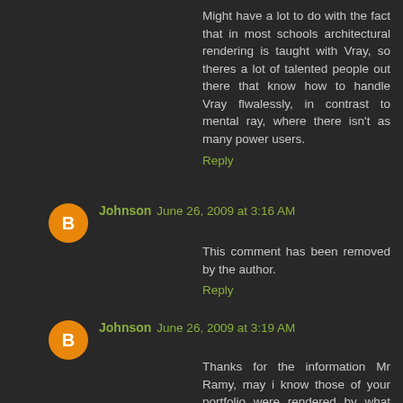Might have a lot to do with the fact that in most schools architectural rendering is taught with Vray, so theres a lot of talented people out there that know how to handle Vray flwalessly, in contrast to mental ray, where there isn't as many power users.
Reply
Johnson June 26, 2009 at 3:16 AM
This comment has been removed by the author.
Reply
Johnson June 26, 2009 at 3:19 AM
Thanks for the information Mr Ramy, may i know those of your portfolio were rendered by what engine? mental or vray? And is it possible by using raytrace with vray for rendering?